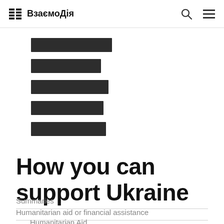ВзаємоДія
[Figure (logo): Stacked horizontal bars logo in dark color, representing the ВзаємоДія (Vzaiemodiia) portal branding mark]
How you can support Ukraine
Summaries
Humanitarian aid or financial assistance
Humanitarian Aid